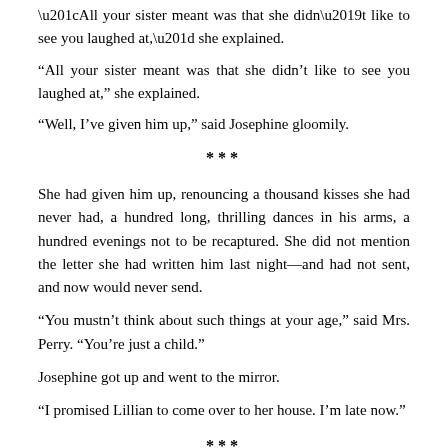“All your sister meant was that she didn’t like to see you laughed at,” she explained.
“Well, I’ve given him up,” said Josephine gloomily.
***
She had given him up, renouncing a thousand kisses she had never had, a hundred long, thrilling dances in his arms, a hundred evenings not to be recaptured. She did not mention the letter she had written him last night—and had not sent, and now would never send.
“You mustn’t think about such things at your age,” said Mrs. Perry. “You’re just a child.”
Josephine got up and went to the mirror.
“I promised Lillian to come over to her house. I’m late now.”
***
Back in her room, Mrs. Perry thought: “Two months to February.” She was a pretty woman who wanted to be loved by everyone around her; there was no power of